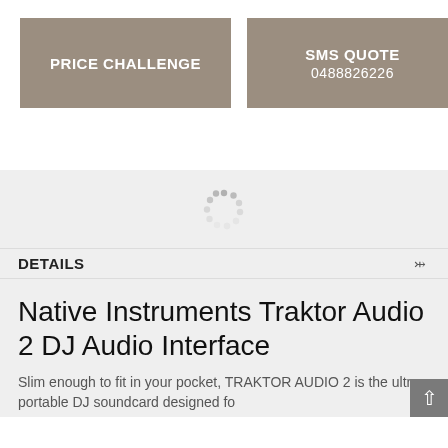PRICE CHALLENGE
SMS QUOTE
0488826226
[Figure (other): Loading spinner (circular dotted animation indicator)]
DETAILS
Native Instruments Traktor Audio 2 DJ Audio Interface
Slim enough to fit in your pocket, TRAKTOR AUDIO 2 is the ultra-portable DJ soundcard designed fo...